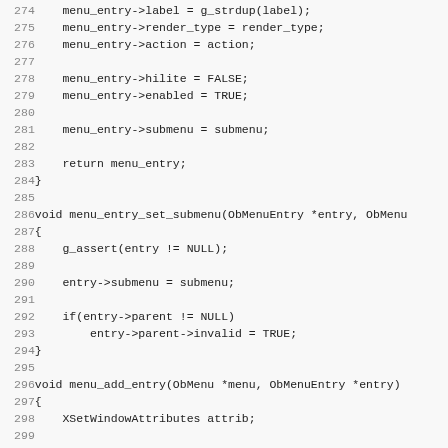[Figure (other): Source code listing in C, lines 274-306, showing menu entry functions: menu_entry_set_submenu and menu_add_entry]